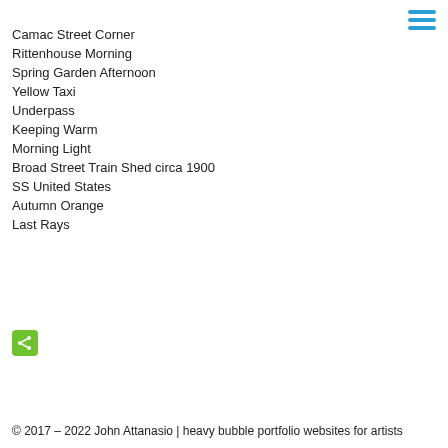Camac Street Corner
Rittenhouse Morning
Spring Garden Afternoon
Yellow Taxi
Underpass
Keeping Warm
Morning Light
Broad Street Train Shed circa 1900
SS United States
Autumn Orange
Last Rays
[Figure (other): Share icon button (green rounded square with share symbol)]
© 2017 – 2022  John Attanasio  |  heavy bubble portfolio websites for artists